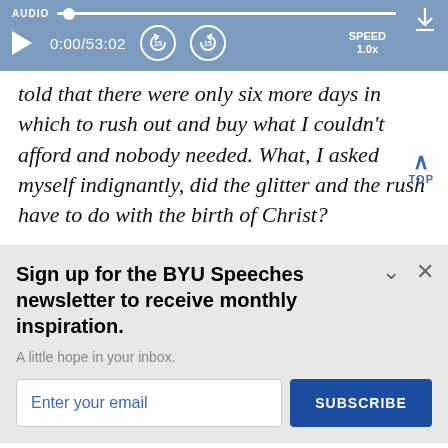[Figure (screenshot): Audio player bar with AUDIO label, progress track, play button, time display 0:00/53:02, two skip-15 buttons, SPEED 1.0x, and download icon]
told that there were only six more days in which to rush out and buy what I couldn't afford and nobody needed. What, I asked myself indignantly, did the glitter and the rush have to do with the birth of Christ?
Sign up for the BYU Speeches newsletter to receive monthly inspiration.
A little hope in your inbox.
Enter your email
SUBSCRIBE